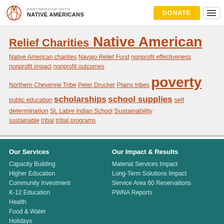Partnership with Native Americans — DONATE
Relief Charities Native American Native American charities Navajo Relief Fund nonprofit effectiveness nonprofit impact nonprofit outcomes Northern Cheyenne Tribe Peter Drucker Plains tribes poverty public education scholarships school supplies self determination St. Labre Indian School Sustainability sustainable tribal tribal programs
Our Services
Capacity Building
Higher Education
Community Investment
K-12 Education
Health
Food & Water
Holidays
Emergency Services
Animal Welfare
Our Impact & Results
Material Services Impact
Long-Term Solutions Impact
Service Area 60 Reservations
PWNA Reports
Contribute
Programs